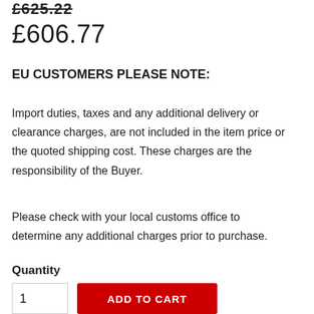£606.77
EU CUSTOMERS PLEASE NOTE:
Import duties, taxes and any additional delivery or clearance charges, are not included in the item price or the quoted shipping cost. These charges are the responsibility of the Buyer.
Please check with your local customs office to determine any additional charges prior to purchase.
Quantity
1
ADD TO CART